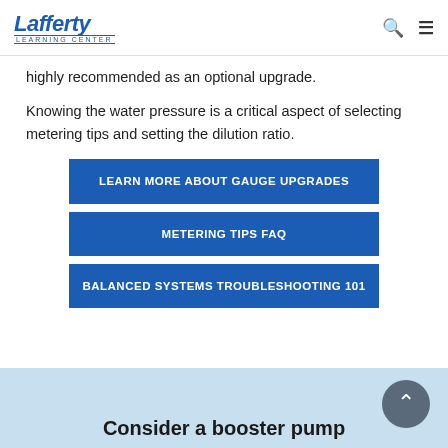Lafferty Learning Center — navigation bar with search and menu icons
highly recommended as an optional upgrade.
Knowing the water pressure is a critical aspect of selecting metering tips and setting the dilution ratio.
LEARN MORE ABOUT GAUGE UPGRADES
METERING TIPS FAQ
BALANCED SYSTEMS TROUBLESHOOTING 101
Consider a booster pump